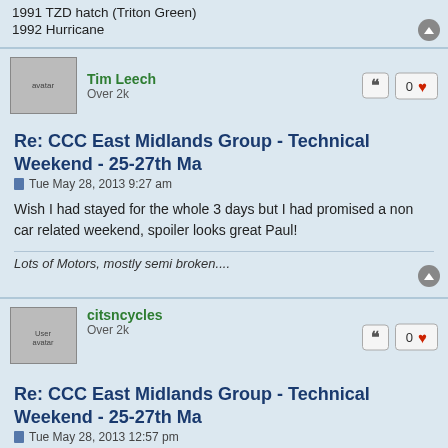1991 TZD hatch (Triton Green)
1992 Hurricane
Tim Leech
Over 2k
Re: CCC East Midlands Group - Technical Weekend - 25-27th Ma
Tue May 28, 2013 9:27 am
Wish I had stayed for the whole 3 days but I had promised a non car related weekend, spoiler looks great Paul!
Lots of Motors, mostly semi broken....
citsncycles
Over 2k
Re: CCC East Midlands Group - Technical Weekend - 25-27th Ma
Tue May 28, 2013 12:57 pm
An Ami pick-up mid restoration - I don't know much about Ami's but I